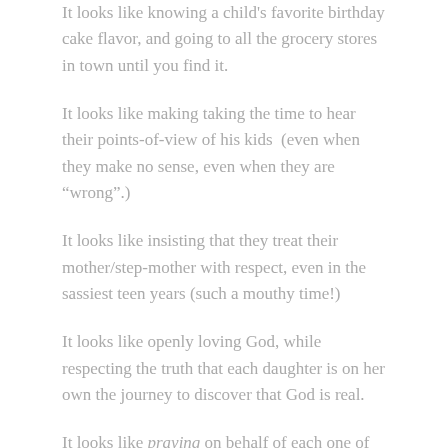It looks like knowing a child's favorite birthday cake flavor, and going to all the grocery stores in town until you find it.
It looks like making taking the time to hear their points-of-view of his kids  (even when they make no sense, even when they are “wrong”.)
It looks like insisting that they treat their mother/step-mother with respect, even in the sassiest teen years (such a mouthy time!)
It looks like openly loving God, while respecting the truth that each daughter is on her own the journey to discover that God is real.
It looks like praying on behalf of each one of them, every day.